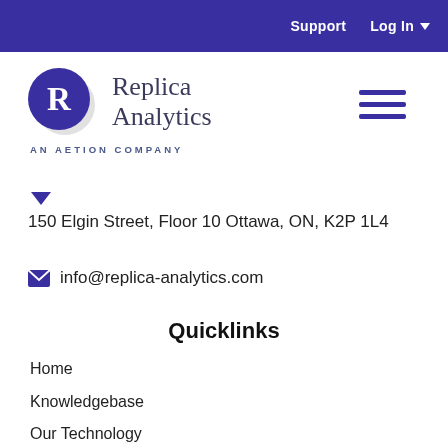Support   Log In
[Figure (logo): Replica Analytics logo — blue circle with white R, beside text 'Replica Analytics' and tagline 'AN AETION COMPANY']
150 Elgin Street, Floor 10 Ottawa, ON, K2P 1L4
info@replica-analytics.com
Quicklinks
Home
Knowledgebase
Our Technology